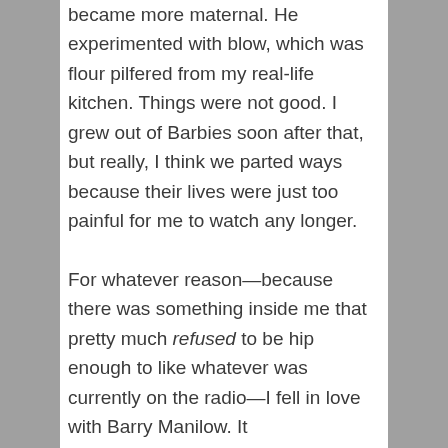became more maternal. He experimented with blow, which was flour pilfered from my real-life kitchen. Things were not good. I grew out of Barbies soon after that, but really, I think we parted ways because their lives were just too painful for me to watch any longer.

For whatever reason—because there was something inside me that pretty much refused to be hip enough to like whatever was currently on the radio—I fell in love with Barry Manilow. It